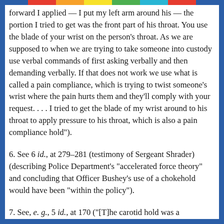forward I applied — I put my left arm around his — the portion I tried to get was the front part of his throat. You use the blade of your wrist on the person's throat. As we are supposed to when we are trying to take someone into custody use verbal commands of first asking verbally and then demanding verbally. If that does not work we use what is called a pain compliance, which is trying to twist someone's wrist where the pain hurts them and they'll comply with your request. . . . I tried to get the blade of my wrist around to his throat to apply pressure to his throat, which is also a pain compliance hold").
6. See 6 id., at 279–281 (testimony of Sergeant Shrader) (describing Police Department's "accelerated force theory" and concluding that Officer Bushey's use of a chokehold would have been "within the policy").
7. See, e. g., 5 id., at 170 ("[T]he carotid hold was a